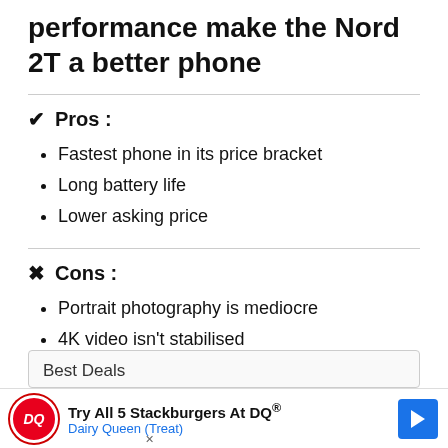performance make the Nord 2T a better phone
✔ Pros :
Fastest phone in its price bracket
Long battery life
Lower asking price
✘ Cons :
Portrait photography is mediocre
4K video isn't stabilised
Best Deals
Try All 5 Stackburgers At DQ® Dairy Queen (Treat)